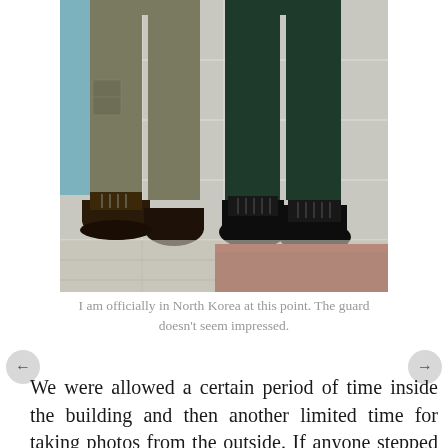[Figure (photo): Photo showing the lower bodies/legs of two people standing on a tiled floor. One person wears olive/gray cargo pants with hiking boots, the other wears dark green military-style trousers with black military boots. A reddish-brown platform or step is visible in the background.]
I am officially in North Korea at this point. The guard doesn't seem impressed.
We were allowed a certain period of time inside the building and then another limited time for taking photos from the outside. If anyone stepped over the lines which marked the edge of the tourist area they were very sharply told to move back. Ask me how I